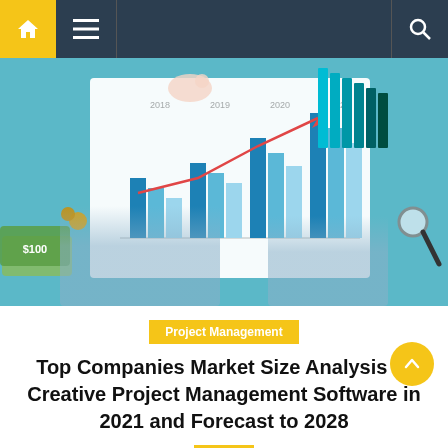Navigation bar with home, menu, and search icons
[Figure (photo): Photo of two hands giving thumbs up over a bar chart with upward trending line, surrounded by money, coins, and a magnifying glass on a teal background. Chart shows years 2018-2021 with rising bars.]
Project Management
Top Companies Market Size Analysis of Creative Project Management Software in 2021 and Forecast to 2028